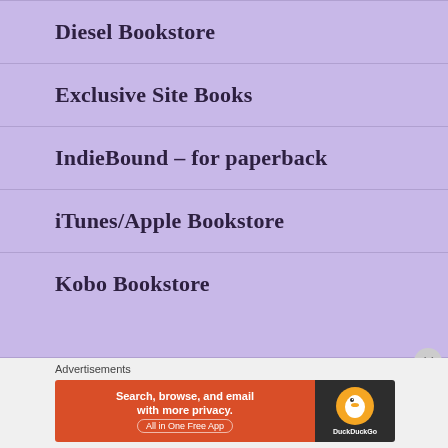Diesel Bookstore
Exclusive Site Books
IndieBound – for paperback
iTunes/Apple Bookstore
Kobo Bookstore
Advertisements
[Figure (infographic): DuckDuckGo advertisement banner: orange left side reading 'Search, browse, and email with more privacy. All in One Free App', dark right side with DuckDuckGo duck logo and text]